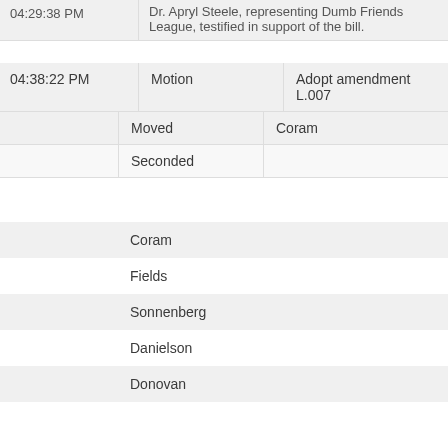| Time | Type | Detail |
| --- | --- | --- |
| 04:29:38 PM |  | Dr. Apryl Steele, representing Dumb Friends League, testified in support of the bill. |
| 04:38:22 PM | Motion | Adopt amendment L.007 |
|  | Moved | Coram |
|  | Seconded |  |
|  | Coram |  |
|  | Fields |  |
|  | Sonnenberg |  |
|  | Danielson |  |
|  | Donovan |  |